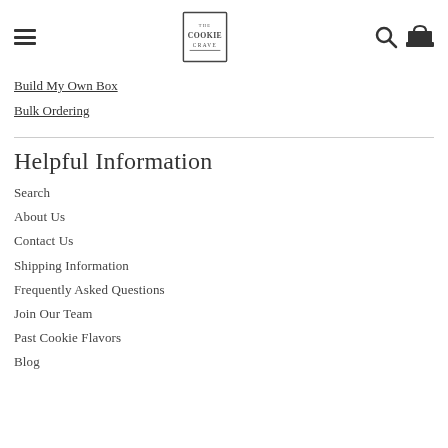The Cookie Crave — navigation header with hamburger menu, logo, search, and cart icons
Build My Own Box
Bulk Ordering
Helpful Information
Search
About Us
Contact Us
Shipping Information
Frequently Asked Questions
Join Our Team
Past Cookie Flavors
Blog